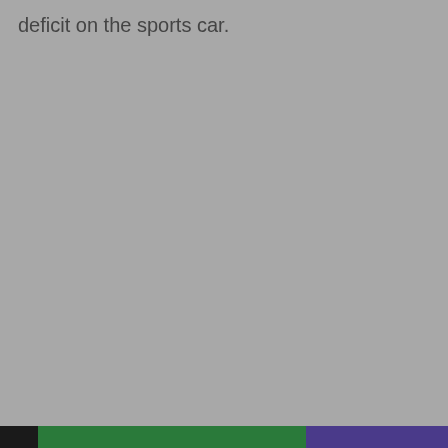deficit on the sports car.
[Figure (other): Footer color bar with three segments: black, green, and purple/indigo]